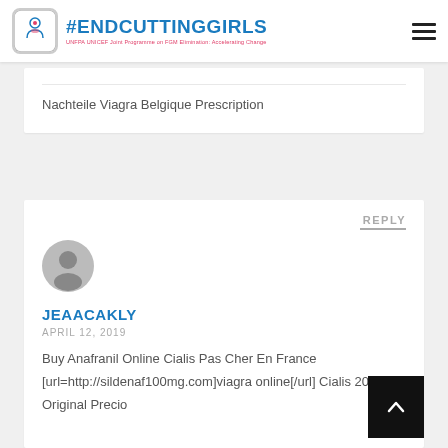#ENDCUTTINGGIRLS UNFPA UNICEF Joint Programme on FGM Elimination: Accelerating Change
Nachteile Viagra Belgique Prescription
REPLY
JEAACAKLY
APRIL 12, 2019
Buy Anafranil Online Cialis Pas Cher En France [url=http://sildenaf100mg.com]viagra online[/url] Cialis 20 Mg Original Precio